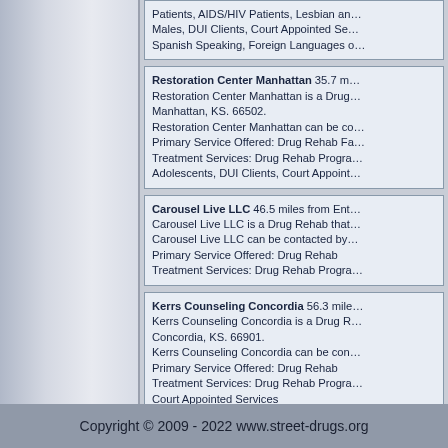Treatment Services: Drug Rehab Programs for: Patients, AIDS/HIV Patients, Lesbian an... Males, DUI Clients, Court Appointed Se... Spanish Speaking, Foreign Languages o...
Restoration Center Manhattan 35.7 m... Restoration Center Manhattan is a Drug... Manhattan, KS. 66502. Restoration Center Manhattan can be co... Primary Service Offered: Drug Rehab Fa... Treatment Services: Drug Rehab Progra... Adolescents, DUI Clients, Court Appoint...
Carousel Live LLC 46.5 miles from Ent... Carousel Live LLC is a Drug Rehab that... Carousel Live LLC can be contacted by... Primary Service Offered: Drug Rehab Treatment Services: Drug Rehab Progra...
Kerrs Counseling Concordia 56.3 mile... Kerrs Counseling Concordia is a Drug R... Concordia, KS. 66901. Kerrs Counseling Concordia can be con... Primary Service Offered: Drug Rehab Treatment Services: Drug Rehab Progra... Court Appointed Services
Copyright © 2009 - 2022 www.street-drugs.org